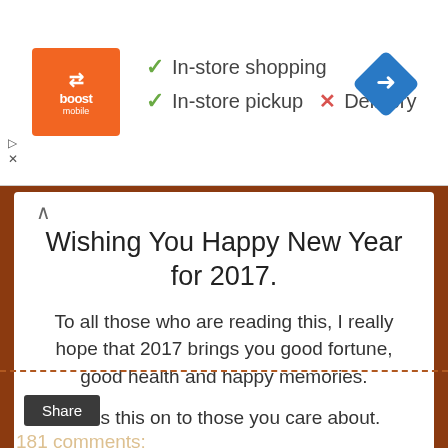[Figure (screenshot): Advertisement banner with Boost Mobile logo (orange square), green checkmarks listing 'In-store shopping' and 'In-store pickup', red X with 'Delivery', and blue navigation diamond arrow icon on the right.]
Wishing You Happy New Year for 2017.
To all those who are reading this, I really hope that 2017 brings you good fortune, good health and happy memories.
Pass this on to those you care about.
Share
181 comments: